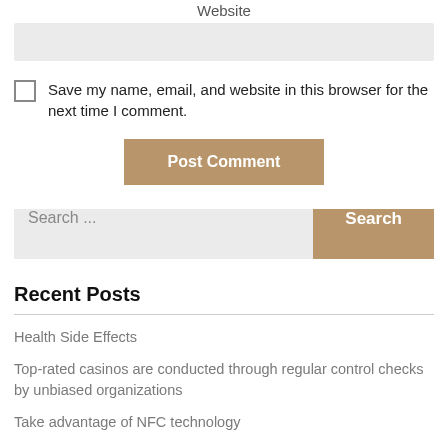Website
Save my name, email, and website in this browser for the next time I comment.
Post Comment
Search ...
Search
Recent Posts
Health Side Effects
Top-rated casinos are conducted through regular control checks by unbiased organizations
Take advantage of NFC technology